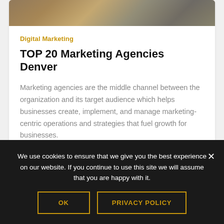[Figure (photo): Partial photo strip at top of card showing a blurred indoor scene with plants and decorative elements]
Digital Marketing
TOP 20 Marketing Agencies Denver
Marketing agencies are the middle channel between the organization and its target audience which helps businesses create, implement, and manage marketing-centric operations and strategies that fuel growth for businesses.
We use cookies to ensure that we give you the best experience on our website. If you continue to use this site we will assume that you are happy with it.